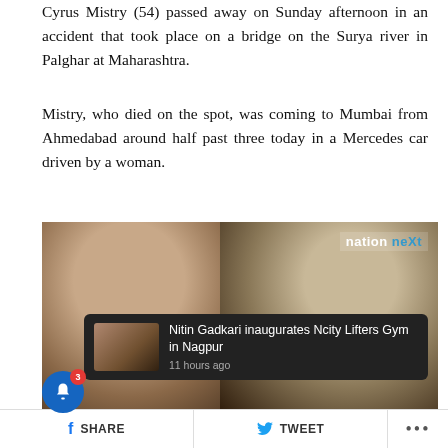Cyrus Mistry (54) passed away on Sunday afternoon in an accident that took place on a bridge on the Surya river in Palghar at Maharashtra.
Mistry, who died on the spot, was coming to Mumbai from Ahmedabad around half past three today in a Mercedes car driven by a woman.
[Figure (photo): Two men in suits smiling, with a 'nation neXt' watermark in the top right corner. A notification popup appears at the bottom showing 'Nitin Gadkari inaugurates Ncity Lifters Gym in Nagpur – 11 hours ago'.]
f SHARE  TWEET  ...